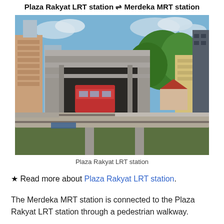Plaza Rakyat LRT station ⇌ Merdeka MRT station
[Figure (photo): Exterior view of Plaza Rakyat LRT station showing the elevated rail track, concrete station structure, and a red train visible inside. Urban background with buildings and trees under a blue sky.]
Plaza Rakyat LRT station
★ Read more about Plaza Rakyat LRT station.
The Merdeka MRT station is connected to the Plaza Rakyat LRT station through a pedestrian walkway.